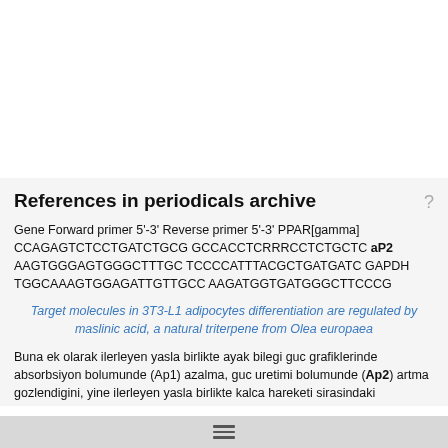References in periodicals archive
Gene Forward primer 5'-3' Reverse primer 5'-3' PPAR[gamma] CCAGAGTCTCCTGATCTGCG GCCACCTCRRRCCTCTGCTC aP2 AAGTGGGAGTGGGCTTTGC TCCCCATTTACGCTGATGATC GAPDH TGGCAAAGTGGAGATTGTTGCC AAGATGGTGATGGGCTTCCCG
Target molecules in 3T3-L1 adipocytes differentiation are regulated by maslinic acid, a natural triterpene from Olea europaea
Buna ek olarak ilerleyen yasla birlikte ayak bilegi guc grafiklerinde absorbsiyon bolumunde (Ap1) azalma, guc uretimi bolumunde (Ap2) artma gozlendigini, yine ilerleyen yasla birlikte kalca hareketi sirasindaki